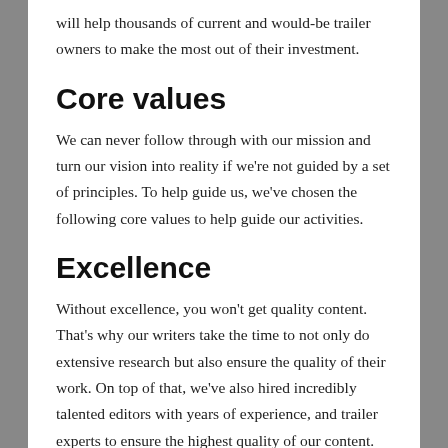will help thousands of current and would-be trailer owners to make the most out of their investment.
Core values
We can never follow through with our mission and turn our vision into reality if we're not guided by a set of principles. To help guide us, we've chosen the following core values to help guide our activities.
Excellence
Without excellence, you won't get quality content. That's why our writers take the time to not only do extensive research but also ensure the quality of their work. On top of that, we've also hired incredibly talented editors with years of experience, and trailer experts to ensure the highest quality of our content.